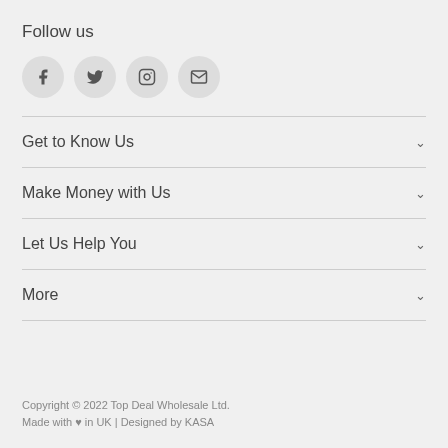Follow us
[Figure (illustration): Four social media icon circles: Facebook (f), Twitter (bird), Instagram (camera), Email (envelope)]
Get to Know Us
Make Money with Us
Let Us Help You
More
Copyright © 2022 Top Deal Wholesale Ltd.
Made with ♥ in UK | Designed by KASA